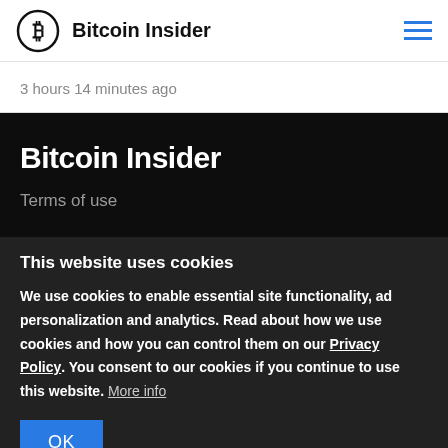Bitcoin Insider
3 hours 14 minutes ago
Bitcoin Insider
Terms of use
This website uses cookies
We use cookies to enable essential site functionality, ad personalization and analytics. Read about how we use cookies and how you can control them on our Privacy Policy. You consent to our cookies if you continue to use this website. More info
OK